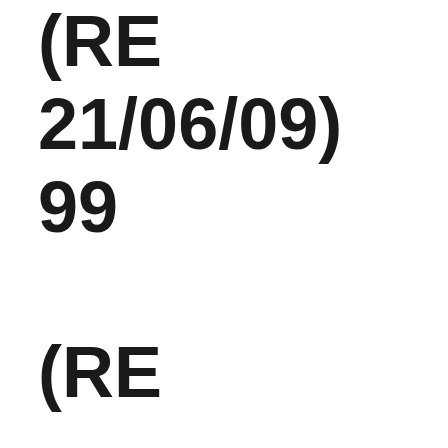(RE 21/06/09) 99 (RE 16/08/09) 64-33-27- 31-29-25-